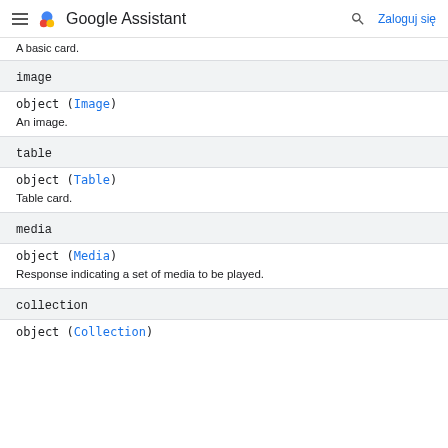Google Assistant — Zaloguj się
A basic card.
image
object (Image)
An image.
table
object (Table)
Table card.
media
object (Media)
Response indicating a set of media to be played.
collection
object (Collection)